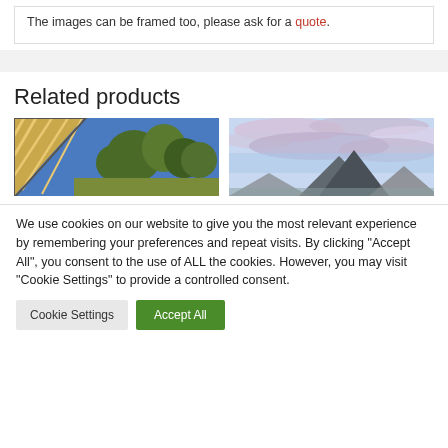The images can be framed too, please ask for a quote.
Related products
[Figure (photo): Painting of trees and rooftop with diagonal lines, blue sky background]
[Figure (photo): Painting of mountains with purple/blue cloudy sky]
We use cookies on our website to give you the most relevant experience by remembering your preferences and repeat visits. By clicking "Accept All", you consent to the use of ALL the cookies. However, you may visit "Cookie Settings" to provide a controlled consent.
Cookie Settings
Accept All